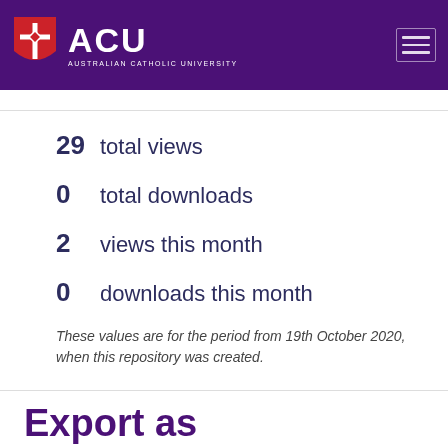[Figure (logo): ACU Australian Catholic University logo with shield on purple header background]
29  total views
0  total downloads
2  views this month
0  downloads this month
These values are for the period from 19th October 2020, when this repository was created.
Export as